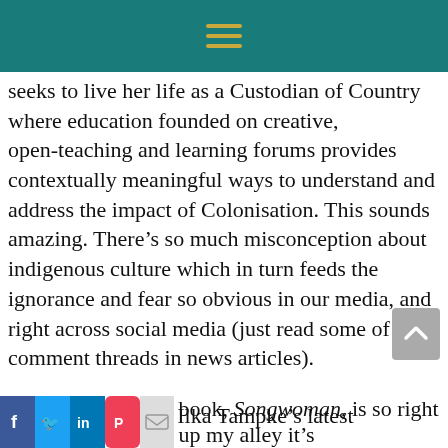[hamburger menu icon]
seeks to live her life as a Custodian of Country where education founded on creative, open-teaching and learning forums provides contextually meaningful ways to understand and address the impact of Colonisation. This sounds amazing. There’s so much misconception about indigenous culture which in turn feeds the ignorance and fear so obvious in our media, and right across social media (just read some of the comment threads in news articles).
On the other hand, Ilka Tampke’s latest book, Songwoman, is so right up my alley it’s